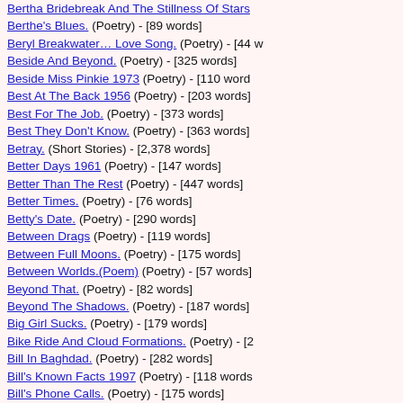Bertha Bridebreak And The Stillness Of Stars (Poetry) - [partial]
Berthe's Blues. (Poetry) - [89 words]
Beryl Breakwater… Love Song. (Poetry) - [44 w…]
Beside And Beyond. (Poetry) - [325 words]
Beside Miss Pinkie 1973 (Poetry) - [110 word…]
Best At The Back 1956 (Poetry) - [203 words]
Best For The Job. (Poetry) - [373 words]
Best They Don't Know. (Poetry) - [363 words]
Betray. (Short Stories) - [2,378 words]
Better Days 1961 (Poetry) - [147 words]
Better Than The Rest (Poetry) - [447 words]
Better Times. (Poetry) - [76 words]
Betty's Date. (Poetry) - [290 words]
Between Drags (Poetry) - [119 words]
Between Full Moons. (Poetry) - [175 words]
Between Worlds.(Poem) (Poetry) - [57 words]
Beyond That. (Poetry) - [82 words]
Beyond The Shadows. (Poetry) - [187 words]
Big Girl Sucks. (Poetry) - [179 words]
Bike Ride And Cloud Formations. (Poetry) - [2…]
Bill In Baghdad. (Poetry) - [282 words]
Bill's Known Facts 1997 (Poetry) - [118 words]
Bill's Phone Calls. (Poetry) - [175 words]
Birdie Sleeps. (Poetry) - [219 words]
Birds Of Depression. (Poetry) - [74 words]